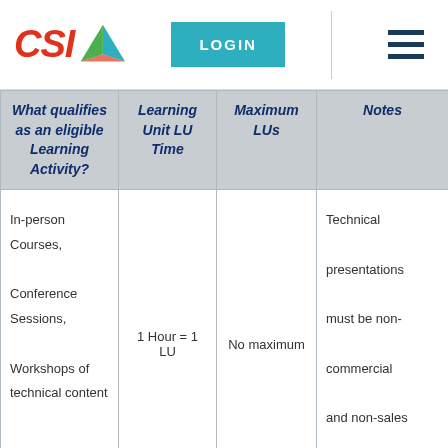[Figure (logo): CSI logo with red italic text and colorful triangle icon]
| What qualifies as an eligible Learning Activity? | Learning Unit LU Time | Maximum LUs | Notes |
| --- | --- | --- | --- |
| In-person Courses, Conference Sessions, Workshops of technical content | 1 Hour = 1 LU | No maximum | Technical presentations must be non-commercial and non-sales in nature. |
|  |  |  | Non-technical |